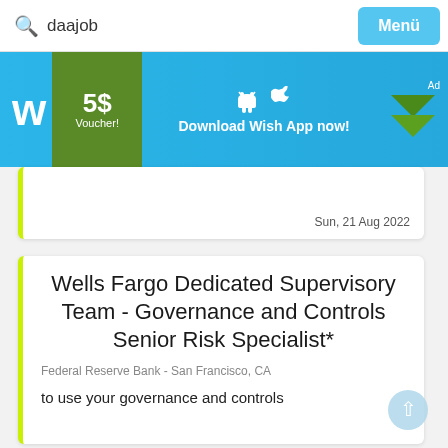daajob   Menü
[Figure (infographic): Wish app advertisement banner: 'w' logo, 5$ Voucher!, Android and Apple icons, Download Wish App now!, Ad badge with green chevron]
Sun, 21 Aug 2022
Wells Fargo Dedicated Supervisory Team - Governance and Controls Senior Risk Specialist*
Federal Reserve Bank - San Francisco, CA
to use your governance and controls